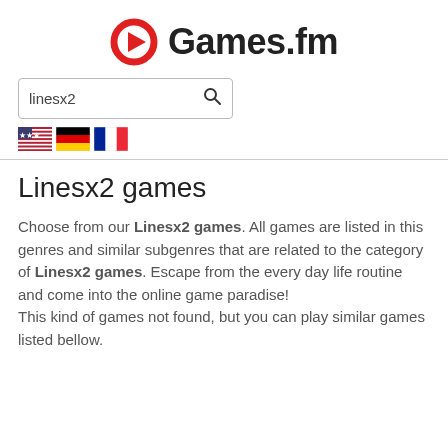[Figure (logo): Games.fm logo with red circle/ring icon and bold dark text 'Games.fm']
linesx2 [search box with magnifying glass icon]
[Figure (illustration): Three flag emojis: US flag, German flag, French flag]
Linesx2 games
Choose from our Linesx2 games. All games are listed in this genres and similar subgenres that are related to the category of Linesx2 games. Escape from the every day life routine and come into the online game paradise!
This kind of games not found, but you can play similar games listed bellow.